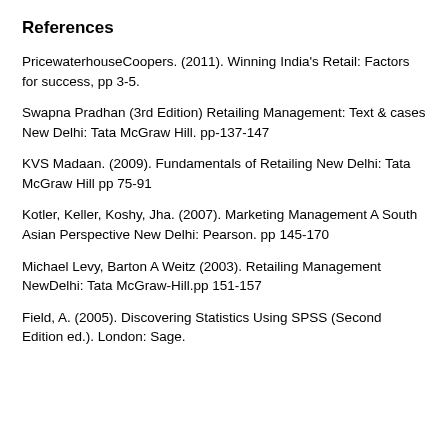References
PricewaterhouseCoopers. (2011). Winning India's Retail: Factors for success, pp 3-5.
Swapna Pradhan (3rd Edition) Retailing Management: Text & cases New Delhi: Tata McGraw Hill. pp-137-147
KVS Madaan. (2009). Fundamentals of Retailing New Delhi: Tata McGraw Hill pp 75-91
Kotler, Keller, Koshy, Jha. (2007). Marketing Management A South Asian Perspective New Delhi: Pearson. pp 145-170
Michael Levy, Barton A Weitz (2003). Retailing Management NewDelhi: Tata McGraw-Hill.pp 151-157
Field, A. (2005). Discovering Statistics Using SPSS (Second Edition ed.). London: Sage.